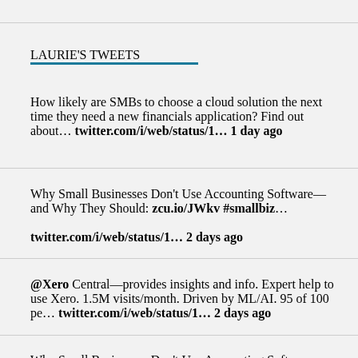LAURIE'S TWEETS
How likely are SMBs to choose a cloud solution the next time they need a new financials application? Find out about… twitter.com/i/web/status/1… 1 day ago
Why Small Businesses Don't Use Accounting Software—and Why They Should: zcu.io/JWkv #smallbiz… twitter.com/i/web/status/1… 2 days ago
@Xero Central—provides insights and info. Expert help to use Xero. 1.5M visits/month. Driven by ML/AI. 95 of 100 pe… twitter.com/i/web/status/1… 2 days ago
Why Small Businesses Don't Use Accounting Software—and Why They Should: zcu.io/JWkv #smallbiz